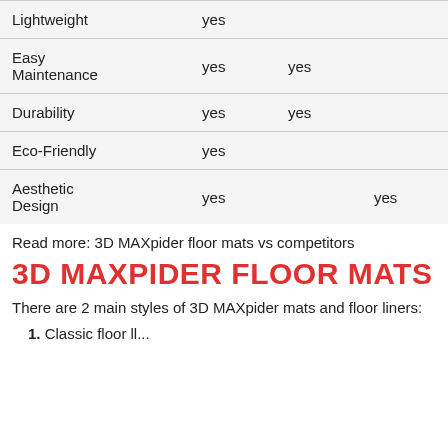|  |  |  |  |
| --- | --- | --- | --- |
| Lightweight | yes |  |  |
| Easy Maintenance | yes | yes |  |
| Durability | yes | yes |  |
| Eco-Friendly | yes |  |  |
| Aesthetic Design | yes |  | yes |
Read more: 3D MAXpider floor mats vs competitors
3D MAXPIDER FLOOR MATS
There are 2 main styles of 3D MAXpider mats and floor liners:
1. Classic floor ll...